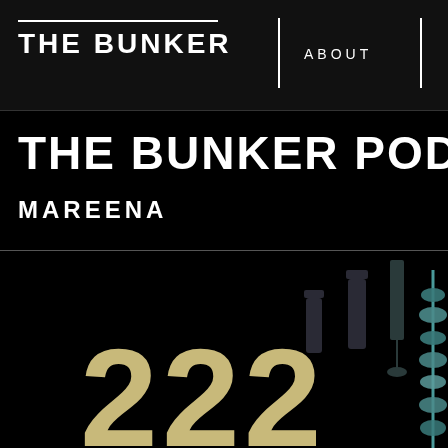THE BUNKER | ABOUT
THE BUNKER PODC
MAREENA
[Figure (illustration): Large golden bold numbers '222' with dark decorative bottle/object silhouettes in teal and dark tones on a black background]